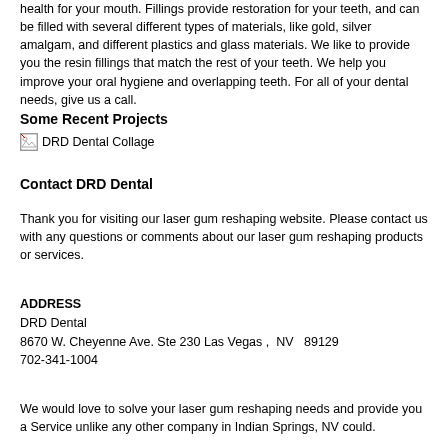health for your mouth.  Fillings provide restoration for your teeth, and can be filled with several different types of materials, like gold, silver amalgam, and different plastics and glass materials.  We like to provide you the resin fillings that match the rest of your teeth.  We help you improve your oral hygiene and overlapping teeth.  For all of your dental needs, give us a call.
Some Recent Projects
[Figure (photo): DRD Dental Collage image (broken/missing image icon with alt text)]
Contact DRD Dental
Thank you for visiting our laser gum reshaping website. Please contact us with any questions or comments about our laser gum reshaping products or services.
ADDRESS
DRD Dental
8670 W. Cheyenne Ave. Ste 230 Las Vegas ,  NV   89129
702-341-1004
We would love to solve your laser gum reshaping needs and provide you a Service unlike any other company in Indian Springs, NV could.